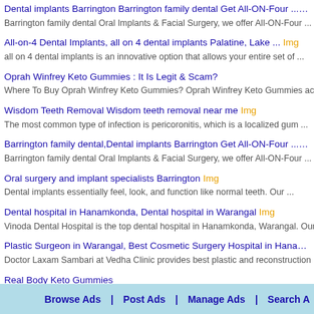Dental implants Barrington Barrington family dental Get All-ON-Four ... Img
Barrington family dental Oral Implants & Facial Surgery, we offer All-ON-Four ...
All-on-4 Dental Implants, all on 4 dental implants Palatine, Lake ... Img
all on 4 dental implants is an innovative option that allows your entire set of ...
Oprah Winfrey Keto Gummies : It Is Legit & Scam?
Where To Buy Oprah Winfrey Keto Gummies? Oprah Winfrey Keto Gummies accompany
Wisdom Teeth Removal Wisdom teeth removal near me Img
The most common type of infection is pericoronitis, which is a localized gum ...
Barrington family dental,Dental implants Barrington Get All-ON-Four ... Img
Barrington family dental Oral Implants & Facial Surgery, we offer All-ON-Four ...
Oral surgery and implant specialists Barrington Img
Dental implants essentially feel, look, and function like normal teeth. Our ...
Dental hospital in Hanamkonda, Dental hospital in Warangal Img
Vinoda Dental Hospital is the top dental hospital in Hanamkonda, Warangal. Our ...
Plastic Surgeon in Warangal, Best Cosmetic Surgery Hospital in Hanamkonda Img
Doctor Laxam Sambari at Vedha Clinic provides best plastic and reconstruction ...
Real Body Keto Gummies
Real Body Keto Gummies It is troublesome now and again to isolate the weight ...
https supplement24x7 com/condor-cbd-gummies/ Img
Condor CBD Gummies all forms of guarantees i ss what number of energy your frame ...
very,...,https://americansupplements.org/condorcbd-gummies/
Condor CBD Gummies :- And, that's assuming that they're all true for you. Many ...
americansupplements.org/condorcbd-gummies/
Browse Ads | Post Ads | Manage Ads | Search A